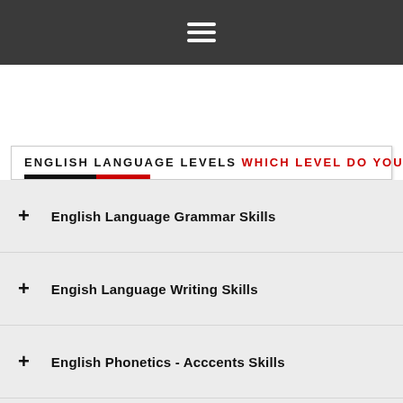☰
ENGLISH LANGUAGE LEVELS WHICH LEVEL DO YOU HAVE?
+ English Language Grammar Skills
+ Engish Language Writing Skills
+ English Phonetics - Acccents Skills
+ English Language Reading Skills
+ English Language Speaking Skills